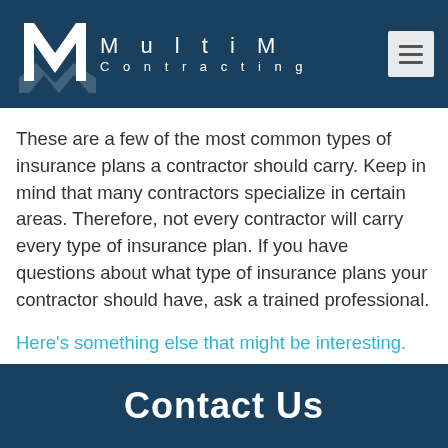[Figure (logo): MultiM Contracting logo with stylized M lettermark on dark blue header background]
These are a few of the most common types of insurance plans a contractor should carry. Keep in mind that many contractors specialize in certain areas. Therefore, not every contractor will carry every type of insurance plan. If you have questions about what type of insurance plans your contractor should have, ask a trained professional.
Here's something else that might be interesting.
Here's more.
Contact Us